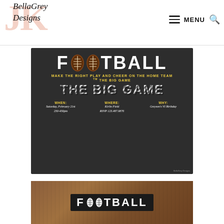[Figure (logo): BellaGrey Designs logo with large JK letters in pink behind script text]
[Figure (other): Hamburger menu icon and MENU text with search icon]
[Figure (illustration): Football party invitation on chalkboard background: FOOTBALL with football icons replacing O's, text MAKE THE RIGHT PLAY AND CHEER ON THE HOME TEAM IN THE BIG GAME, WHEN: Saturday February 21st 230-430pm, WHERE: Kirlin Field RSVP 123.487.9876, WHY: Greyson's VI Birthday]
[Figure (photo): Photo of FOOTBALL text card on wooden table background]